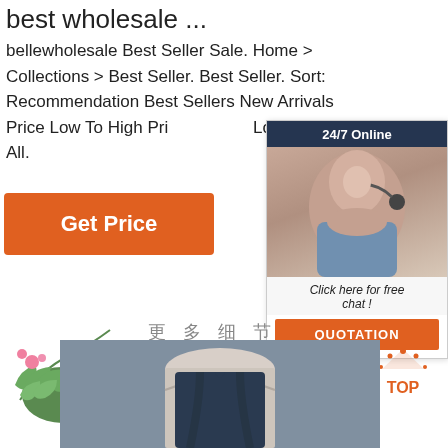best wholesale ...
bellewholesale Best Seller Sale. Home > Collections > Best Seller. Best Seller. Sort: Recommendation Best Sellers New Arrivals Price Low To High Price High To Low. Clear All.
[Figure (other): Orange 'Get Price' button]
[Figure (other): 24/7 Online chat widget with photo of woman wearing headset, 'Click here for free chat!' text, and orange QUOTATION button]
[Figure (photo): Pink mimosa flower plant with green leaves]
更多细节
ABOUT DETAILS
[Figure (other): Orange TOP scroll-to-top button with dotted arch icon]
[Figure (photo): Blue sleeveless dress on a mannequin torso]